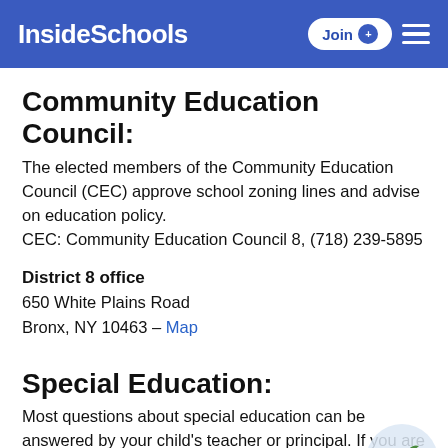InsideSchools
Community Education Council:
The elected members of the Community Education Council (CEC) approve school zoning lines and advise on education policy.
CEC: Community Education Council 8, (718) 239-5895
District 8 office
650 White Plains Road
Bronx, NY 10463 – Map
Special Education:
Most questions about special education can be answered by your child's teacher or principal. If you are new to New York City or your child attends private or parochial school, contact the nearest Committee on